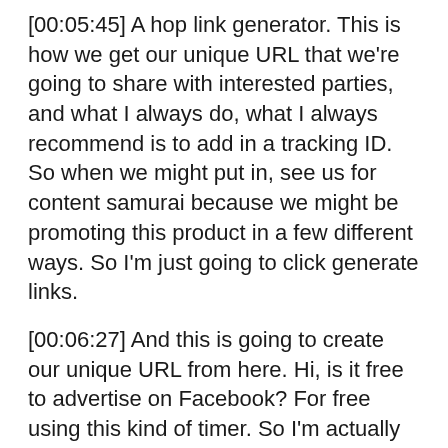[00:05:45] A hop link generator. This is how we get our unique URL that we're going to share with interested parties, and what I always do, what I always recommend is to add in a tracking ID. So when we might put in, see us for content samurai because we might be promoting this product in a few different ways. So I'm just going to click generate links.
[00:06:27] And this is going to create our unique URL from here. Hi, is it free to advertise on Facebook? For free using this kind of timer. So I'm actually going to get into that at the end, and I'm going to talk about different ways that you can actually do this for free. Facebook is one of the methods, but I'll talk about that in just a moment. But that's a good question, and I'll